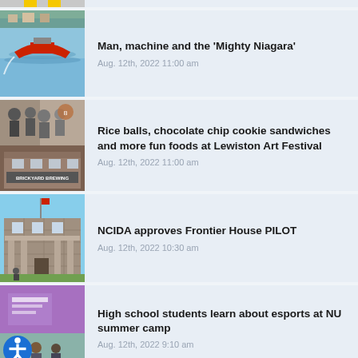[Figure (photo): Partial top image, cropped — yellow stripes visible, partially cut off]
Man, machine and the 'Mighty Niagara'
Aug. 12th, 2022 11:00 am
[Figure (photo): Speedboat racing on water with red hull]
Rice balls, chocolate chip cookie sandwiches and more fun foods at Lewiston Art Festival
Aug. 12th, 2022 11:00 am
[Figure (photo): People at festival and Brickyard Brewing storefront]
NCIDA approves Frontier House PILOT
Aug. 12th, 2022 10:30 am
[Figure (photo): Stone building exterior, Frontier House]
High school students learn about esports at NU summer camp
Aug. 12th, 2022 9:10 am
[Figure (photo): Purple branded materials and students, with accessibility icon overlay]